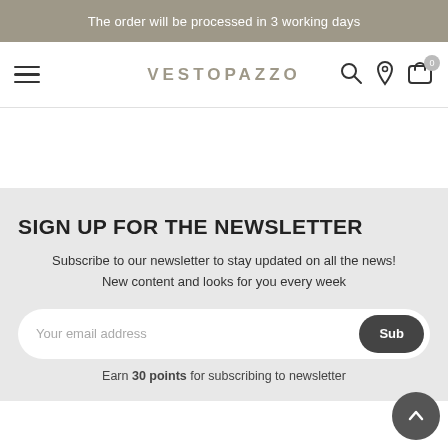The order will be processed in 3 working days
VESTOPAZZO
SIGN UP FOR THE NEWSLETTER
Subscribe to our newsletter to stay updated on all the news! New content and looks for you every week
Your email address
Earn 30 points for subscribing to newsletter